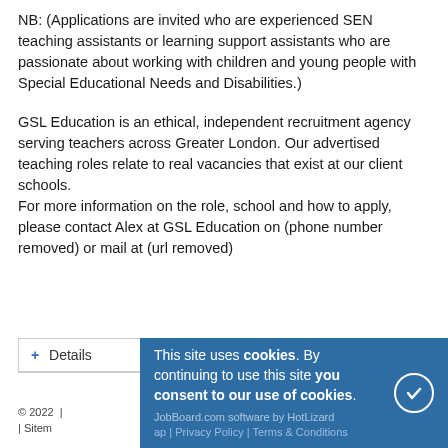NB: (Applications are invited who are experienced SEN teaching assistants or learning support assistants who are passionate about working with children and young people with Special Educational Needs and Disabilities.)
GSL Education is an ethical, independent recruitment agency serving teachers across Greater London. Our advertised teaching roles relate to real vacancies that exist at our client schools.
For more information on the role, school and how to apply, please contact Alex at GSL Education on (phone number removed) or mail at (url removed)
+ Details
This site uses cookies. By continuing to use this site you consent to our use of cookies.
© 2022 | JobBoard.com software by HotLizard | Sitemap | Privacy Policy | Terms & Conditions